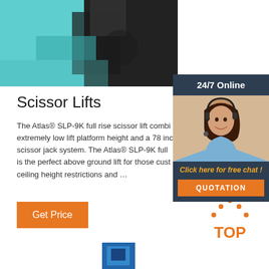[Figure (photo): Scissor lift product image showing teal/black machinery]
[Figure (photo): 24/7 Online support widget with woman wearing headset, Click here for free chat, and QUOTATION button]
Scissor Lifts
The Atlas® SLP-9K full rise scissor lift combi extremely low lift platform height and a 78 inc scissor jack system. The Atlas® SLP-9K full is the perfect above ground lift for those cust ceiling height restrictions and …
[Figure (other): Orange Get Price button]
[Figure (logo): TOP icon with orange dots arranged in a triangle with the word TOP]
[Figure (photo): Next product image - blue lift equipment partially visible at bottom]